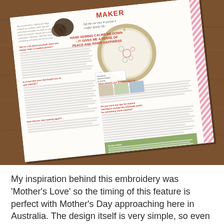[Figure (photo): A photograph of an open magazine resting on a wooden table. The magazine page shows an embroidery article with a red/pink title, an embroidery hoop with a floral design, body text in multiple columns, small thumbnail images, and a green info box at the bottom.]
My inspiration behind this embroidery was 'Mother's Love' so the timing of this feature is perfect with Mother's Day approaching here in Australia. The design itself is very simple, so even beginner stitchers should have little trouble with it.